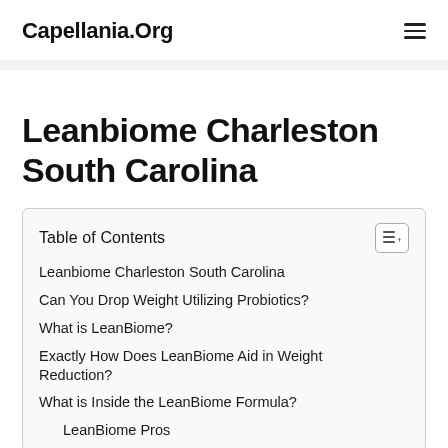Capellania.Org
Leanbiome Charleston South Carolina
| Table of Contents |
| --- |
| Leanbiome Charleston South Carolina |
| Can You Drop Weight Utilizing Probiotics? |
| What is LeanBiome? |
| Exactly How Does LeanBiome Aid in Weight Reduction? |
| What is Inside the LeanBiome Formula? |
| LeanBiome Pros |